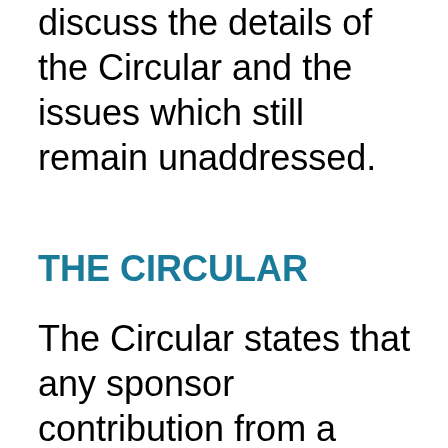discuss the details of the Circular and the issues which still remain unaddressed.
THE CIRCULAR
The Circular states that any sponsor contribution from a sponsor IP to a